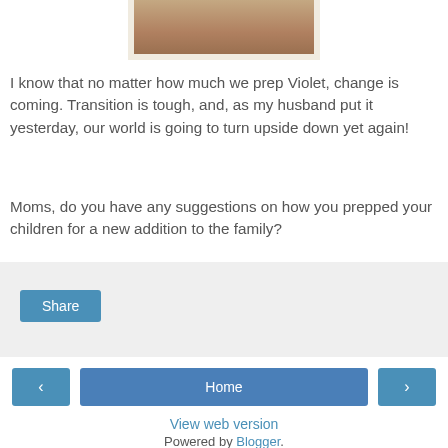[Figure (photo): Partial photo visible at top of page with brownish/warm toned image, framed in cream/white border]
I know that no matter how much we prep Violet, change is coming. Transition is tough, and, as my husband put it yesterday, our world is going to turn upside down yet again!
Moms, do you have any suggestions on how you prepped your children for a new addition to the family?
[Figure (screenshot): Share button area with light gray background and a teal/blue Share button]
[Figure (screenshot): Navigation bar with left arrow button, Home button, and right arrow button]
View web version
Powered by Blogger.